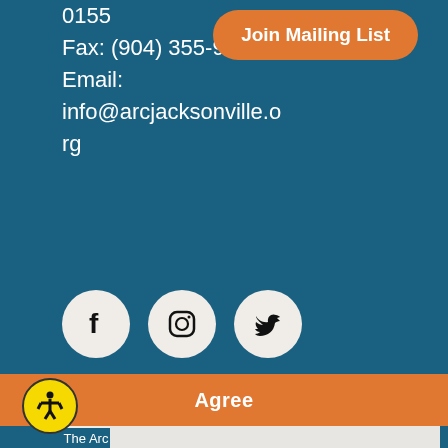0155
Fax: (904) 355-9616
Email:
info@arcjacksonville.org
Join Mailing List
[Figure (illustration): Social media icons: Facebook, Instagram, Twitter, YouTube in white circles on teal background]
This site uses cookies. By using our services, you agree that we set cookies. Learn More
Agree
The Arc Jacksonville is a nonprofit 501(c)(3) tax-exempt